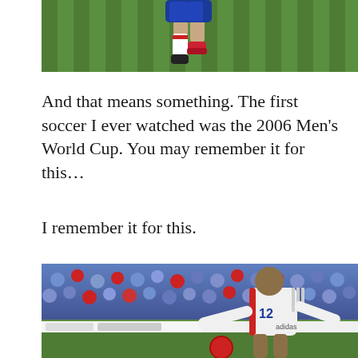[Figure (photo): Top portion of a soccer player in blue France national team kit running on a green grass field, cropped to show legs and lower body only.]
And that means something. The first soccer I ever watched was the 2006 Men’s World Cup. You may remember it for this…
I remember it for this.
[Figure (photo): Soccer player wearing France national team white away jersey with number 12 (Thierry Henry) dribbling a ball, with a crowd of fans in blue and red in the background at a stadium.]